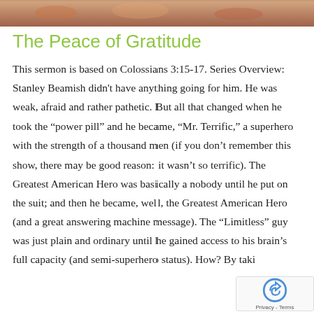[Figure (photo): Decorative food/table photo strip at top of page]
The Peace of Gratitude
This sermon is based on Colossians 3:15-17. Series Overview: Stanley Beamish didn't have anything going for him. He was weak, afraid and rather pathetic. But all that changed when he took the “power pill” and he became, “Mr. Terrific,” a superhero with the strength of a thousand men (if you don’t remember this show, there may be good reason: it wasn’t so terrific). The Greatest American Hero was basically a nobody until he put on the suit; and then he became, well, the Greatest American Hero (and a great answering machine message). The “Limitless” guy was just plain and ordinary until he gained access to his brain’s full capacity (and semi-superhero status). How? By taki…